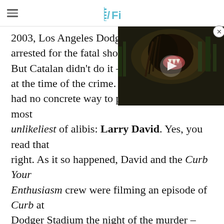/Film
[Figure (screenshot): Video player overlay showing a dark creature/monster scene with a play button, positioned in the top-right of the article body]
2003, Los Angeles Dodgers arrested for the fatal shooting. But Catalan didn't do it – he at the time of the crime. The had no concrete way to prove that. Enter the most unlikeliest of alibis: Larry David. Yes, you read that right. As it so happened, David and the Curb Your Enthusiasm crew were filming an episode of Curb at Dodger Stadium the night of the murder – while Catalan was there. Catalan's lawyer rushes to comb through hours and hours of B-roll footage with the hopes of finding his client nestled among a huge crowd of thousands of fans. It all makes for a breezy, amusing, ultimately uplifting mini-documentary